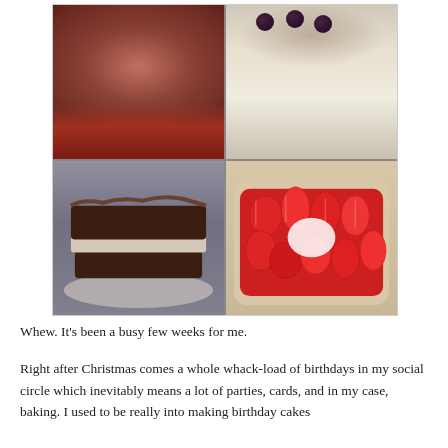[Figure (photo): A 2x2 grid collage of four cake/dessert photos: top-left is a close-up of a chocolate/red-velvet frosted cake, top-right is a white frosted cake with dark cherries and cocoa dusting, bottom-left is a chocolate layer cake with cream filling on a plate, bottom-right is a rectangular dessert topped with sliced strawberries and cream.]
Whew. It's been a busy few weeks for me.
Right after Christmas comes a whole whack-load of birthdays in my social circle which inevitably means a lot of parties, cards, and in my case, baking. I used to be really into making birthday cakes